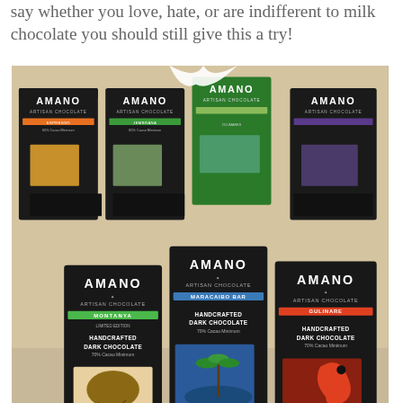say whether you love, hate, or are indifferent to milk chocolate you should still give this a try!
[Figure (photo): Multiple Amano Artisan Chocolate bars arranged on a surface, showing MONTANYA, MARACAIBO Bar, and GULINARE varieties, all Handcrafted Dark Chocolate 70% Cacao Minimum]
WHAT'S NEXT → {Weekend Break}: San...
I feel a little redundant including Amano, since it's been a heavy favorite at chocolate shows: however, it's just such great
✓ In-store shopping